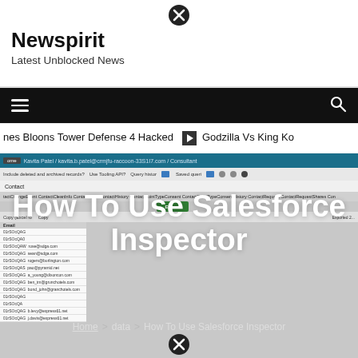Newspirit / Latest Unblocked News
[Figure (screenshot): Black navigation bar with hamburger menu icon on left and search icon on right]
nes Bloons Tower Defense 4 Hacked  ➡  Godzilla Vs King Ko
[Figure (screenshot): Salesforce Inspector browser extension screenshot showing query interface with breadcrumb, toolbar, tabs, Export button, and a table with Email column showing email addresses]
How To Use Salesforce Inspector
Home  >  data  >  How To Use Salesforce Inspector